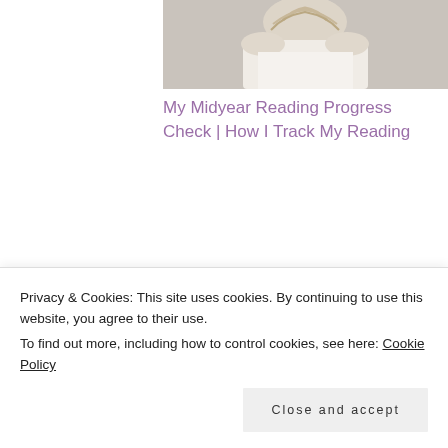[Figure (photo): A person with light blonde/gray hair viewed from behind, wearing a white garment, sitting in what appears to be a chair]
My Midyear Reading Progress Check | How I Track My Reading
June 19, 2021
In "blogging"
< PREVIOUS POST    NEXT POST >
Monday Mini-
Monday Mini-
Privacy & Cookies: This site uses cookies. By continuing to use this website, you agree to their use.
To find out more, including how to control cookies, see here: Cookie Policy
Close and accept